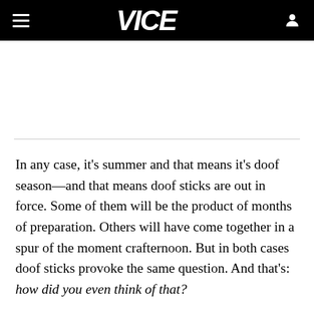VICE
In any case, it's summer and that means it's doof season—and that means doof sticks are out in force. Some of them will be the product of months of preparation. Others will have come together in a spur of the moment crafternoon. But in both cases doof sticks provoke the same question. And that's: how did you even think of that?